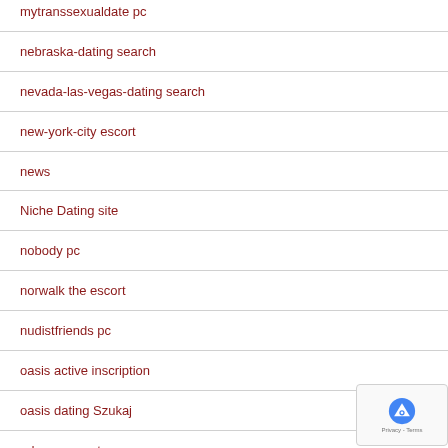mytranssexualdate pc
nebraska-dating search
nevada-las-vegas-dating search
new-york-city escort
news
Niche Dating site
nobody pc
norwalk the escort
nudistfriends pc
oasis active inscription
oasis dating Szukaj
odessa escort
older-women-dating-recenze VyhledГЎvГЎnГ